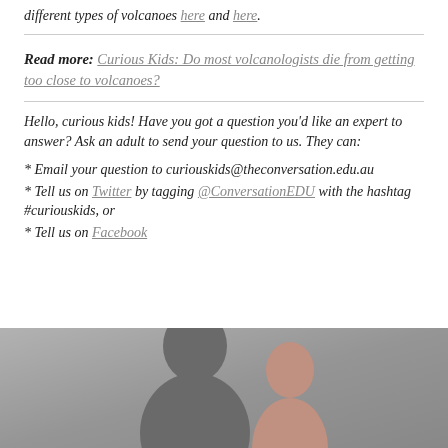different types of volcanoes here and here.
Read more: Curious Kids: Do most volcanologists die from getting too close to volcanoes?
Hello, curious kids! Have you got a question you'd like an expert to answer? Ask an adult to send your question to us. They can:
* Email your question to curiouskids@theconversation.edu.au
* Tell us on Twitter by tagging @ConversationEDU with the hashtag #curiouskids, or
* Tell us on Facebook
[Figure (photo): Silhouette of a person (child/adult) against a grey background, partially visible at the bottom of the page]